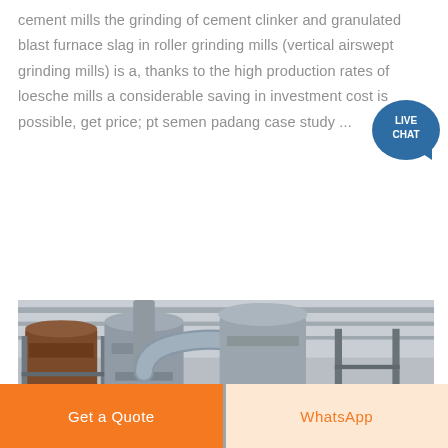cement mills the grinding of cement clinker and granulated blast furnace slag in roller grinding mills (vertical airswept grinding mills) is a, thanks to the high production rates of loesche mills a considerable saving in investment cost is possible, get price; pt semen padang case study ...
[Figure (photo): Industrial cement grinding mill facility interior showing large vertical roller mill equipment, cyclone separators, pipes, metal framework and structural steel, concrete floor, and industrial ceiling.]
Get a Quote
WhatsApp